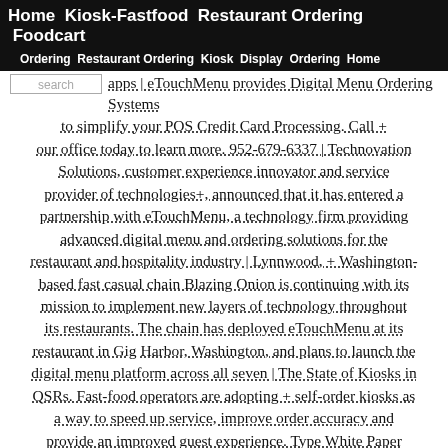Home  Kiosk-Fastfood  Restaurant Ordering  Foodcart
Ordering  Restaurant Ordering  Kiosk  Display  Ordering  Home
apps | eTouchMenu provides Digital Menu Ordering Systems to simplify your POS Credit Card Processing. Call + our office today to learn more. 952-679-6337 | Technovation Solutions, customer experience innovator and service provider of technologies+, announced that it has entered a partnership with eTouchMenu, a technology firm providing advanced digital menu and ordering solutions for the restaurant and hospitality industry | Lynnwood, + Washington-based fast casual chain Blazing Onion is continuing with its mission to implement new layers of technology throughout its restaurants. The chain has deployed eTouchMenu at its restaurant in Gig Harbor, Washington, and plans to launch the digital menu platform across all seven | The State of Kiosks in QSRs. Fast-food operators are adopting + self-order kiosks as a way to speed up service, improve order accuracy and provide an improved guest experience. Type White Paper